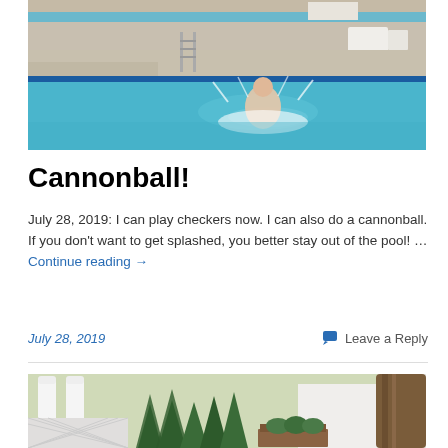[Figure (photo): Partial top image showing pool area, cropped at top of page]
[Figure (photo): Person doing a cannonball into a swimming pool; pool deck visible with ladder and patio furniture]
Cannonball!
July 28, 2019: I can play checkers now. I can also do a cannonball. If you don't want to get splashed, you better stay out of the pool! … Continue reading →
July 28, 2019
Leave a Reply
[Figure (photo): Outdoor yard scene with white picket fence, tall evergreen trees, planter box, and large tree trunk on right]